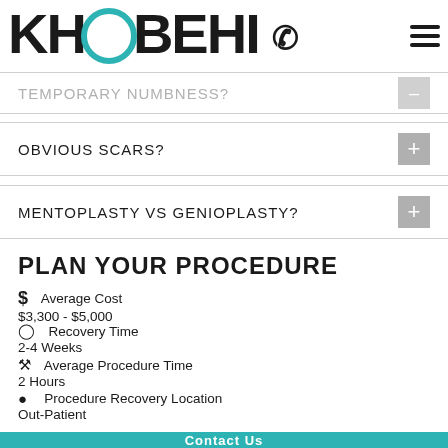KHOOBEHI
TEMPORARY NUMBNESS?
OBVIOUS SCARS?
MENTOPLASTY VS GENIOPLASTY?
PLAN YOUR PROCEDURE
Average Cost
$3,300 - $5,000
Recovery Time
2-4 Weeks
Average Procedure Time
2 Hours
Procedure Recovery Location
Out-Patient